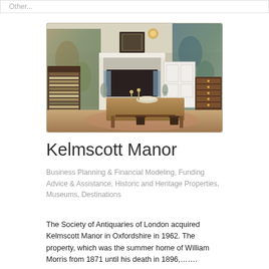Other...
[Figure (photo): Interior room of Kelmscott Manor showing a large wooden dining table with a bowl and candlesticks, a white fireplace with a framed picture above it, tapestry-covered walls, a bookcase on the left, and a door on the right.]
Kelmscott Manor
Business Planning & Financial Modeling, Funding Advice & Assistance, Historic and Heritage Properties, Museums, Destinations
The Society of Antiquaries of London acquired Kelmscott Manor in Oxfordshire in 1962. The property, which was the summer home of William Morris from 1871 until his death in 1896,…….